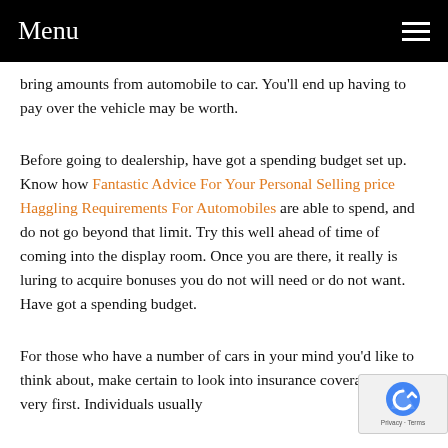Menu
bring amounts from automobile to car. You'll end up having to pay over the vehicle may be worth.
Before going to dealership, have got a spending budget set up. Know how Fantastic Advice For Your Personal Selling price Haggling Requirements For Automobiles are able to spend, and do not go beyond that limit. Try this well ahead of time of coming into the display room. Once you are there, it really is luring to acquire bonuses you do not will need or do not want. Have got a spending budget.
For those who have a number of cars in your mind you'd like to think about, make certain to look into insurance coverage cost very first. Individuals usually